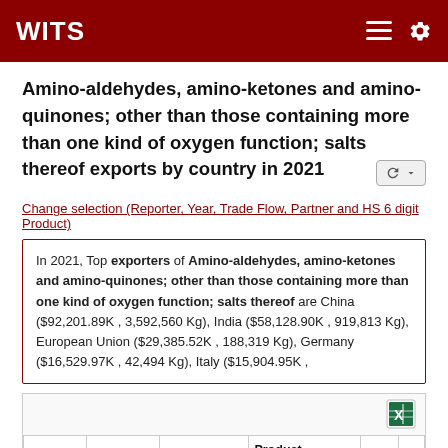WITS
Amino-aldehydes, amino-ketones and amino-quinones; other than those containing more than one kind of oxygen function; salts thereof exports by country in 2021
Change selection (Reporter, Year, Trade Flow, Partner and HS 6 digit Product)
In 2021, Top exporters of Amino-aldehydes, amino-ketones and amino-quinones; other than those containing more than one kind of oxygen function; salts thereof are China ($92,201.89K , 3,592,560 Kg), India ($58,128.90K , 919,813 Kg), European Union ($29,385.52K , 188,319 Kg), Germany ($16,529.97K , 42,494 Kg), Italy ($15,904.95K ,
| Reporter | TradeFlow | ProductCode | Product Description | Year | Pa |
| --- | --- | --- | --- | --- | --- |
|  |  |  | Amino-aldehydes, amino- |  |  |